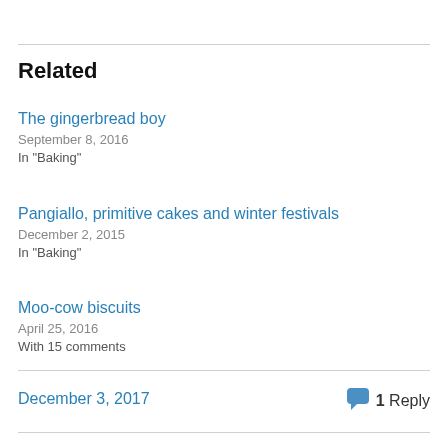Related
The gingerbread boy
September 8, 2016
In "Baking"
Pangiallo, primitive cakes and winter festivals
December 2, 2015
In "Baking"
Moo-cow biscuits
April 25, 2016
With 15 comments
December 3, 2017    1 Reply